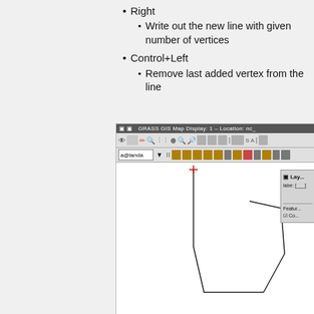Right
Write out the new line with given number of vertices
Control+Left
Remove last added vertex from the line
[Figure (screenshot): GRASS GIS Map Display window showing a polygon being drawn with vertices, with a side Layer panel visible. The map canvas shows an open polygon shape drawn in black with a red cross cursor at the top.]